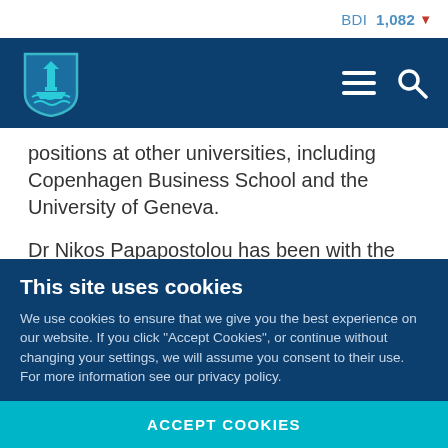BDI 1,082 ▼
[Figure (logo): University shield/crest logo in teal on dark navy navigation bar with hamburger menu and search icons]
positions at other universities, including Copenhagen Business School and the University of Geneva.
Dr Nikos Papapostolou has been with the Costas Grammenos Centre for Shipping, Trade and Finance since 2002. He is a Senior Lecturer in Shipping Finance, acts as the Associate Director to the Centre and he is the
This site uses cookies
We use cookies to ensure that we give you the best experience on our website. If you click "Accept Cookies", or continue without changing your settings, we will assume you consent to their use.  For more information see our privacy policy.
ACCEPT COOKIES